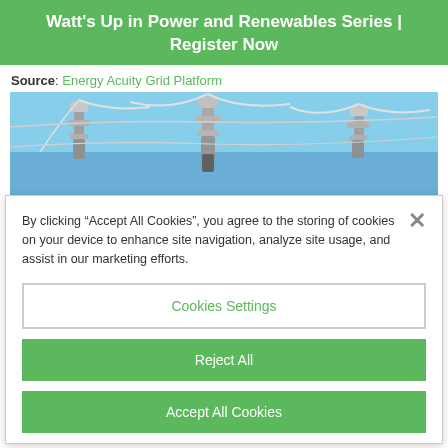Watt's Up in Power and Renewables Series | Register Now
Source: Energy Acuity Grid Platform
[Figure (photo): Photograph of electrical power line hardware and insulators against a blue sky]
By clicking “Accept All Cookies”, you agree to the storing of cookies on your device to enhance site navigation, analyze site usage, and assist in our marketing efforts.
Cookies Settings
Reject All
Accept All Cookies